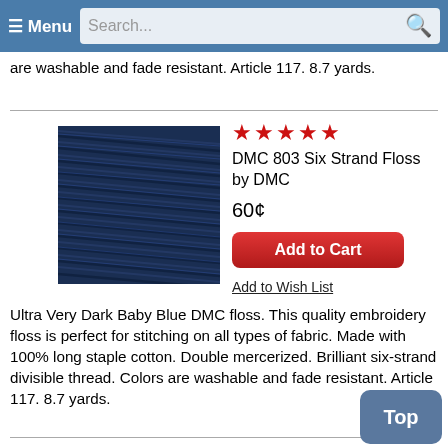≡ Menu  Search...
are washable and fade resistant. Article 117. 8.7 yards.
[Figure (photo): Close-up photo of dark navy blue embroidery floss thread, DMC 803]
★★★★★
DMC 803 Six Strand Floss
by DMC
60¢
Add to Cart
Add to Wish List
Ultra Very Dark Baby Blue DMC floss. This quality embroidery floss is perfect for stitching on all types of fabric. Made with 100% long staple cotton. Double mercerized. Brilliant six-strand divisible thread. Colors are washable and fade resistant. Article 117. 8.7 yards.